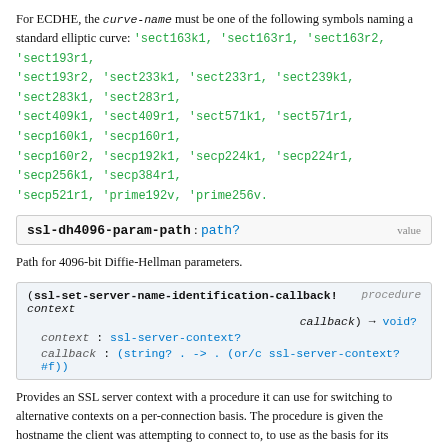For ECDHE, the curve-name must be one of the following symbols naming a standard elliptic curve: 'sect163k1, 'sect163r1, 'sect163r2, 'sect193r1, 'sect193r2, 'sect233k1, 'sect233r1, 'sect239k1, 'sect283k1, 'sect283r1, 'sect409k1, 'sect409r1, 'sect571k1, 'sect571r1, 'secp160k1, 'secp160r1, 'secp160r2, 'secp192k1, 'secp224k1, 'secp224r1, 'secp256k1, 'secp384r1, 'secp521r1, 'prime192v, 'prime256v.
ssl-dh4096-param-path : path?    value
Path for 4096-bit Diffie-Hellman parameters.
(ssl-set-server-name-identification-callback! context callback) → void?  procedure
  context : ssl-server-context?
  callback : (string? . -> . (or/c ssl-server-context? #f))
Provides an SSL server context with a procedure it can use for switching to alternative contexts on a per-connection basis. The procedure is given the hostname the client was attempting to connect to, to use as the basis for its decision.
The client sends this information via the TLS Server Name Identification extension, which was created to allow virtual hosting for secure servers.
The suggested use it to prepare the appropriate server contexts, define a single callback which can dispatch between them, and then apply it to all the contexts b...